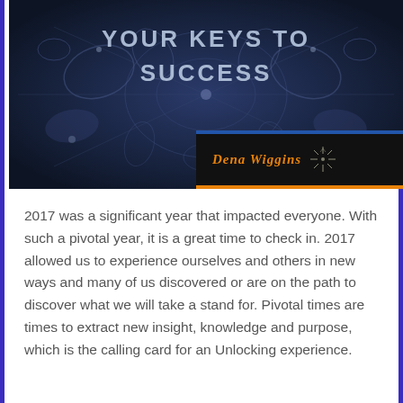[Figure (illustration): Dark blue abstract kaleidoscope/cellular background image with the text 'YOUR KEYS TO SUCCESS' in large bold white/gray uppercase letters at the top center, and a black logo box at bottom right reading 'Dena Wiggins' in orange italic text with a starburst graphic and orange bottom border.]
2017 was a significant year that impacted everyone.  With such a pivotal year, it is a great time to check in.  2017 allowed us to experience ourselves and others in new ways and many of us discovered or are on the path to discover what we will take a stand for.  Pivotal times are times to extract new insight, knowledge and purpose, which is the calling card for an Unlocking experience.